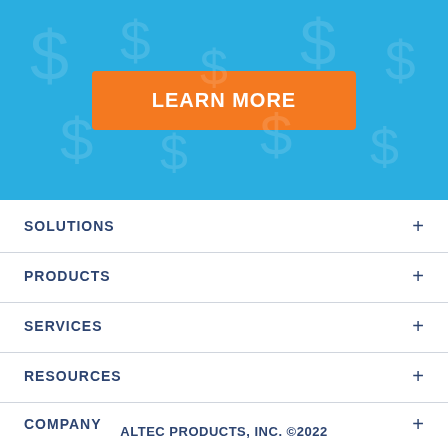[Figure (other): Blue banner with orange LEARN MORE button]
SOLUTIONS +
PRODUCTS +
SERVICES +
RESOURCES +
COMPANY +
[Figure (other): Social media icons: Twitter, LinkedIn, YouTube]
ALTEC PRODUCTS, INC. ©2022